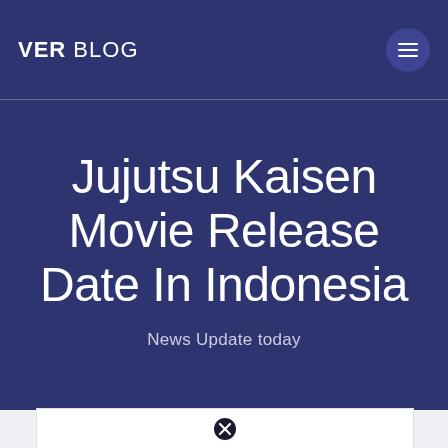VER BLOG
Jujutsu Kaisen Movie Release Date In Indonesia
News Update today